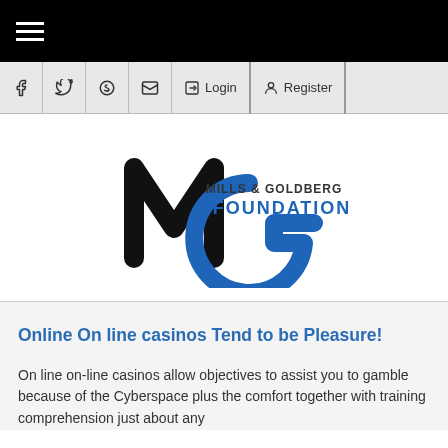[Figure (logo): Mills & Goldberg Foundation logo with stylized MG letters, black M and blue G, with text MILLS & GOLDBERG FOUNDATION]
Online On line casinos Tend to be Pleasure!
On line on-line casinos allow objectives to assist you to gamble because of the Cyberspace plus the comfort together with training comprehension just about any